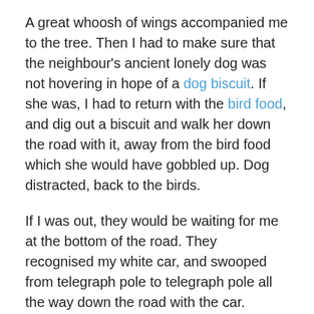A great whoosh of wings accompanied me to the tree. Then I had to make sure that the neighbour's ancient lonely dog was not hovering in hope of a dog biscuit. If she was, I had to return with the bird food, and dig out a biscuit and walk her down the road with it, away from the bird food which she would have gobbled up. Dog distracted, back to the birds.
If I was out, they would be waiting for me at the bottom of the road. They recognised my white car, and swooped from telegraph pole to telegraph pole all the way down the road with the car. They'd then hover round the garage yelling “she's back, she's back” till I came out. If I went for a walk, they'd fly down the road with me, and wait on the corner.
Finally the worm turned. There were so many birds I